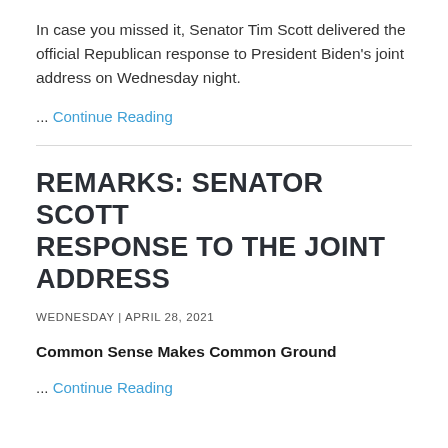In case you missed it, Senator Tim Scott delivered the official Republican response to President Biden’s joint address on Wednesday night.
... Continue Reading
REMARKS: SENATOR SCOTT RESPONSE TO THE JOINT ADDRESS
WEDNESDAY | APRIL 28, 2021
Common Sense Makes Common Ground
... Continue Reading